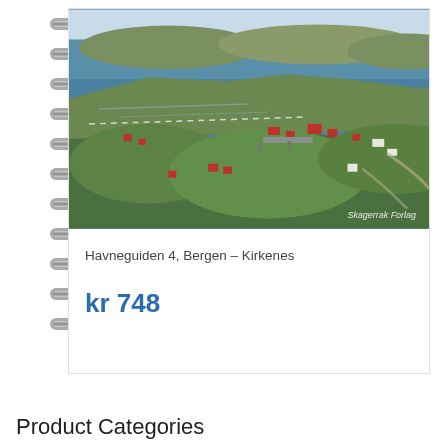[Figure (photo): Aerial photo of a Norwegian coastal town (fjord with islands, red and white buildings, green hills, harbor) from a spiral-bound book called Havneguiden. Watermark: Skagerrak Forlag.]
Havneguiden 4, Bergen – Kirkenes
kr 748
Product Categories